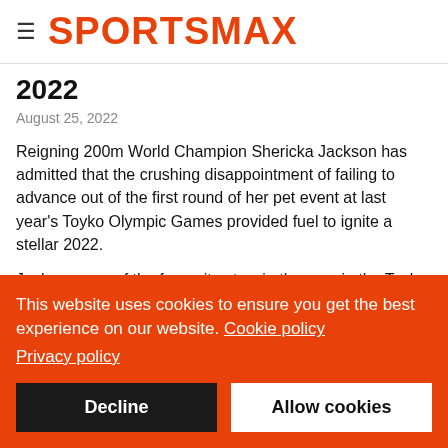SPORTSMAX
2022
August 25, 2022
Reigning 200m World Champion Shericka Jackson has admitted that the crushing disappointment of failing to advance out of the first round of her pet event at last year's Toyko Olympic Games provided fuel to ignite a stellar 2022.
Jackson, one of the favourites to win the race in the Toyko, failed to advance beyond the first round of the event after
This website uses cookies to ensure you get the best experience on our website. Cookie policy Privacy policy
Decline
Allow cookies